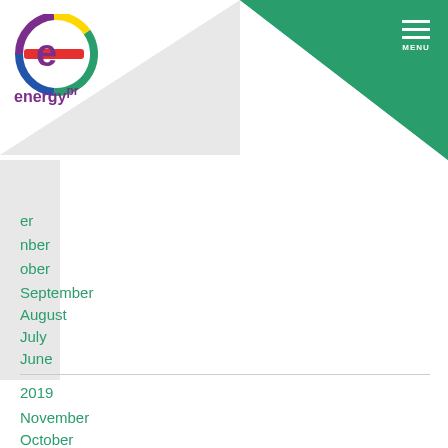[Figure (logo): energypr logo with colorful 'e' circle icon]
er
nber
ober
September
August
July
June
May
April
March
February
January
2019
November
October
September
August
July